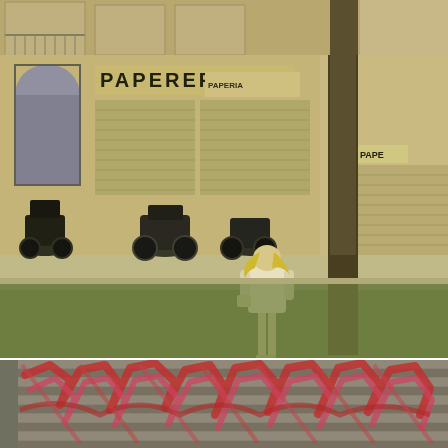[Figure (photo): Sepia-toned street photograph of a blonde woman in a white mini dress and heels walking away from the camera on a city street. Behind her are parked motorcycles and scooters, and a building with a shop sign reading 'PAPERERIA'. A bare tree trunk is visible on the right side. The foreground shows an area of green grass with a sepia/yellow tone overlay.]
[Figure (photo): Partial view of a metal shutter or gate covered in colorful graffiti with stylized letters in red, pink, and dark tones. Only the top portion of the shutter is visible.]